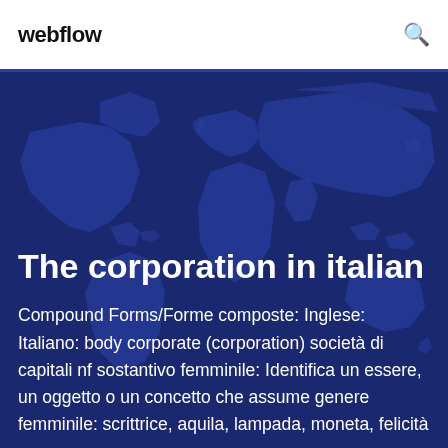webflow
The corporation in italian
Compound Forms/Forme composte: Inglese: Italiano: body corporate (corporation) società di capitali nf sostantivo femminile: Identifica un essere, un oggetto o un concetto che assume genere femminile: scrittrice, aquila, lampada, moneta, felicità